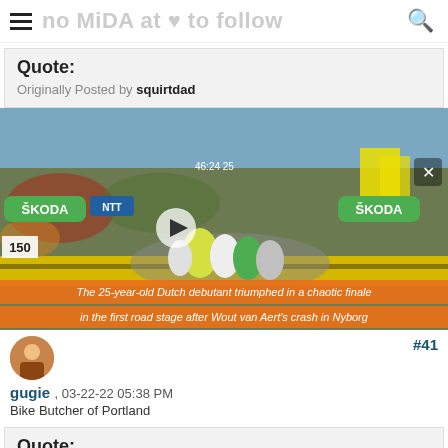Quote: Originally Posted by squirtdad
[Figure (screenshot): Video screenshot of Tour de France cycling race finish, showing a peloton of cyclists crossing a finish line area flanked by yellow barriers and crowds. SKODA sponsor logos visible. Orange caption bars read: 'The 25-year-old Dutch debutant triumphed in a chaotic finale' and 'in the first road stage after Wout van Aert's crash in Nyborg']
#41
gugie , 03-22-22 05:38 PM
Bike Butcher of Portland
Quote: